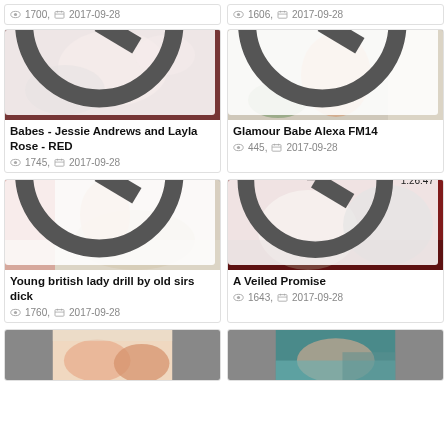[Figure (screenshot): Top partial cards showing metadata: 1700, 2017-09-28 and 1606, 2017-09-28]
[Figure (photo): Video thumbnail - Babes Jessie Andrews and Layla Rose RED, duration 5:30]
Babes - Jessie Andrews and Layla Rose - RED
1745, 2017-09-28
[Figure (photo): Video thumbnail - Glamour Babe Alexa FM14, duration 4:23]
Glamour Babe Alexa FM14
445, 2017-09-28
[Figure (photo): Video thumbnail - Young british lady drill by old sirs dick, duration 5:59]
Young british lady drill by old sirs dick
1760, 2017-09-28
[Figure (photo): Video thumbnail - A Veiled Promise, duration 1:26:47]
A Veiled Promise
1643, 2017-09-28
[Figure (photo): Bottom partial thumbnails - two more video cards partially visible]